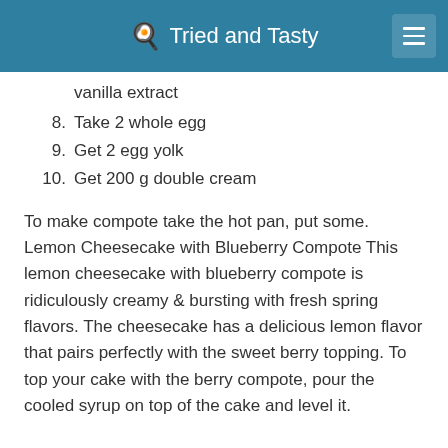🍳 Tried and Tasty
vanilla extract
8. Take 2 whole egg
9. Get 2 egg yolk
10. Get 200 g double cream
To make compote take the hot pan, put some. Lemon Cheesecake with Blueberry Compote This lemon cheesecake with blueberry compote is ridiculously creamy & bursting with fresh spring flavors. The cheesecake has a delicious lemon flavor that pairs perfectly with the sweet berry topping. To top your cake with the berry compote, pour the cooled syrup on top of the cake and level it.